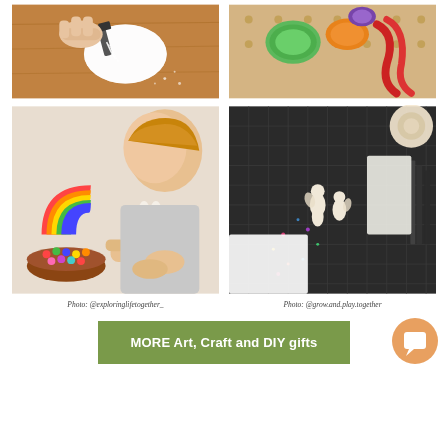[Figure (photo): Hands using a hot glue gun on a white clay or foam object on a wooden table]
[Figure (photo): Colorful yarn bundles (green, orange, red) on a pegboard]
[Figure (photo): Young child crafting with beads and rainbow wooden toy on a table]
Photo: @exploringlifetogether_
[Figure (photo): Craft mat with small figurines, tape roll, pencils, and glitter]
Photo: @grow.and.play.together
MORE Art, Craft and DIY gifts